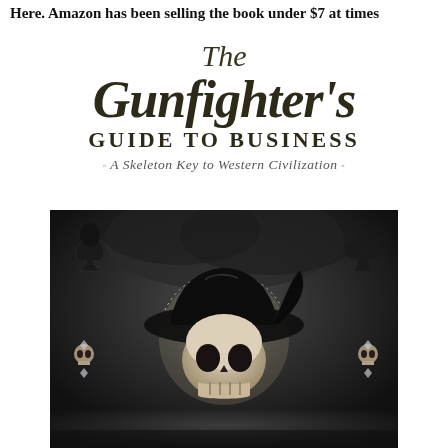Here. Amazon has been selling the book under $7 at times
The Gunfighter's Guide to Business · A Skeleton Key to Western Civilization
[Figure (illustration): Book cover illustration of a skull wearing a wide-brimmed cowboy hat, set against a dark smoky background with playing card suit symbols (spades and clubs) in the corners and small skull ornaments on the sides.]